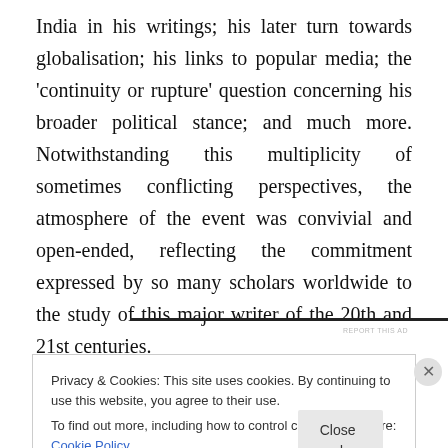India in his writings; his later turn towards globalisation; his links to popular media; the 'continuity or rupture' question concerning his broader political stance; and much more. Notwithstanding this multiplicity of sometimes conflicting perspectives, the atmosphere of the event was convivial and open-ended, reflecting the commitment expressed by so many scholars worldwide to the study of this major writer of the 20th and 21st centuries.
Privacy & Cookies: This site uses cookies. By continuing to use this website, you agree to their use. To find out more, including how to control cookies, see here: Cookie Policy